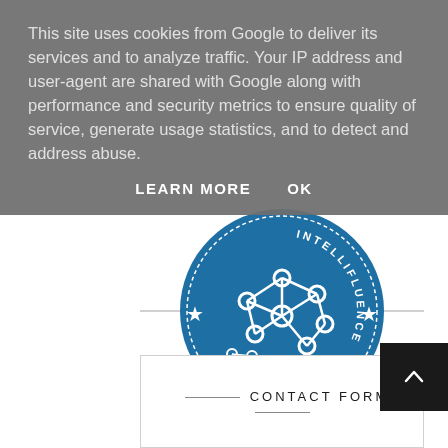This site uses cookies from Google to deliver its services and to analyze traffic. Your IP address and user-agent are shared with Google along with performance and security metrics to ensure quality of service, generate usage statistics, and to detect and address abuse.
LEARN MORE    OK
[Figure (logo): Intellifluence badge — circular blue badge with white network/graph icon and stars, text 'INTELLIFLUENCE' along the bottom]
CONTACT FORM